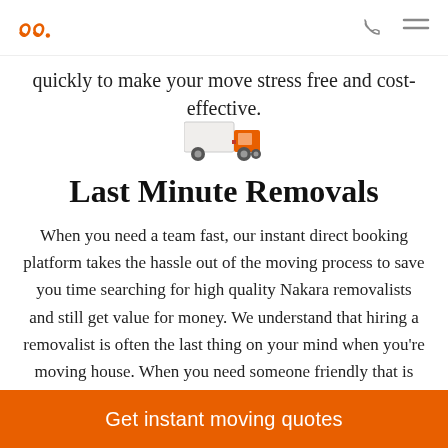[Logo] [phone icon] [menu icon]
quickly to make your move stress free and cost-effective.
[Figure (illustration): Small illustration of a moving truck in orange and red tones]
Last Minute Removals
When you need a team fast, our instant direct booking platform takes the hassle out of the moving process to save you time searching for high quality Nakara removalists and still get value for money. We understand that hiring a removalist is often the last thing on your mind when you're moving house. When you need someone friendly that is available to answer your
Get instant moving quotes